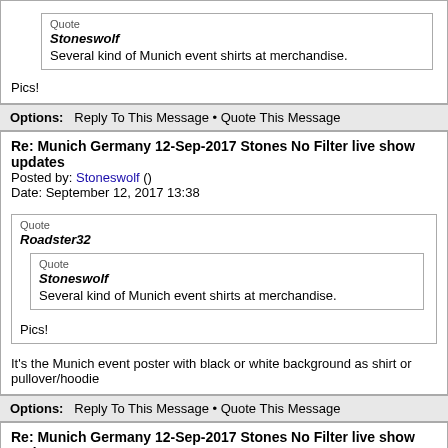Quote
Stoneswolf
Several kind of Munich event shirts at merchandise.
Pics!
Options: Reply To This Message • Quote This Message
Re: Munich Germany 12-Sep-2017 Stones No Filter live show updates
Posted by: Stoneswolf ()
Date: September 12, 2017 13:38
Quote
Roadster32
Quote
Stoneswolf
Several kind of Munich event shirts at merchandise.
Pics!
It's the Munich event poster with black or white background as shirt or pullover/hoodie
Options: Reply To This Message • Quote This Message
Re: Munich Germany 12-Sep-2017 Stones No Filter live show updates
Posted by: MAF ()
Date: September 12, 2017 13:55